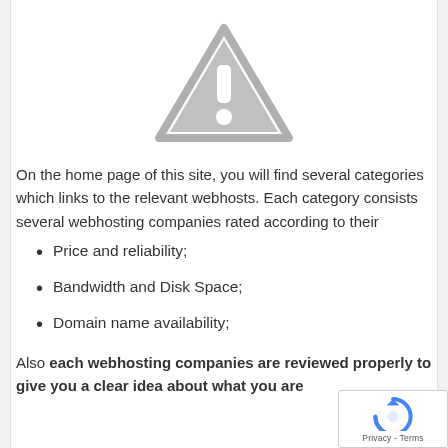[Figure (illustration): Gray warning triangle icon with exclamation mark, centered on the page]
On the home page of this site, you will find several categories which links to the relevant webhosts. Each category consists several webhosting companies rated according to their
Price and reliability;
Bandwidth and Disk Space;
Domain name availability;
Also each webhosting companies are reviewed properly to give you a clear idea about what you are